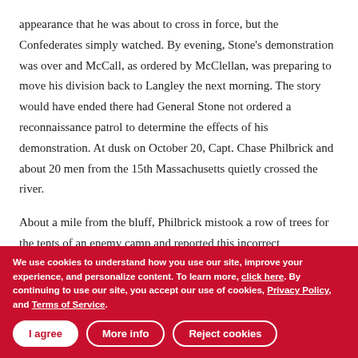appearance that he was about to cross in force, but the Confederates simply watched. By evening, Stone's demonstration was over and McCall, as ordered by McClellan, was preparing to move his division back to Langley the next morning. The story would have ended there had General Stone not ordered a reconnaissance patrol to determine the effects of his demonstration. At dusk on October 20, Capt. Chase Philbrick and about 20 men from the 15th Massachusetts quietly crossed the river.

About a mile from the bluff, Philbrick mistook a row of trees for the tents of an enemy camp and reported this incorrect information to Gen. Stone. Stone responded by ordering a raid on this “camp,” which, in turn, led to the Battle of Ball’s
We use cookies to understand how you use our site, improve your experience, and personalize content. To learn more, click here. By continuing to use our site, you accept our use of cookies, Privacy Policy, and Terms of Service.